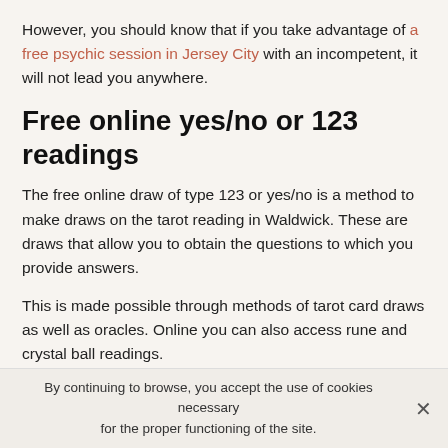However, you should know that if you take advantage of a free psychic session in Jersey City with an incompetent, it will not lead you anywhere.
Free online yes/no or 123 readings
The free online draw of type 123 or yes/no is a method to make draws on the tarot reading in Waldwick. These are draws that allow you to obtain the questions to which you provide answers.
This is made possible through methods of tarot card draws as well as oracles. Online you can also access rune and crystal ball readings.
Considering all that we have previously announced, you should know that clairvoyance by email is the most
By continuing to browse, you accept the use of cookies necessary for the proper functioning of the site.